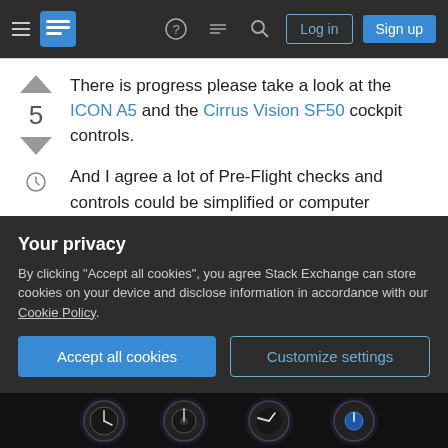Navigation bar with hamburger menu, logo, help, discussions, search icons, Log in and Sign up buttons
There is progress please take a look at the ICON A5 and the Cirrus Vision SF50 cockpit controls.

And I agree a lot of Pre-Flight checks and controls could be simplified or computer checked.

The big difference between a car (simple interface) and a plane is if there is an issue with your car you pull it aside and with a plane you drop from the skies :( although autogyro's like the Cavalon dont have that issue.
Your privacy

By clicking "Accept all cookies", you agree Stack Exchange can store cookies on your device and disclose information in accordance with our Cookie Policy.

[Accept all cookies] [Customize settings]